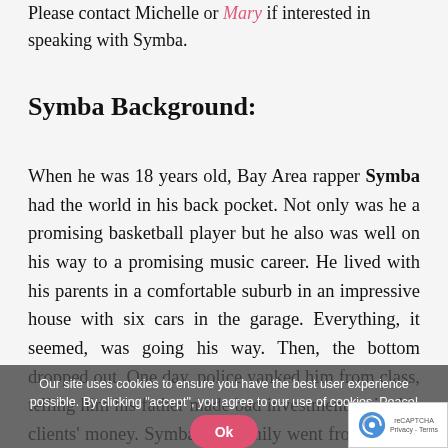Please contact Michelle or Mary if interested in speaking with Symba.
Symba Background:
When he was 18 years old, Bay Area rapper Symba had the world in his back pocket. Not only was he a promising basketball player but he also was well on his way to a promising music career. He lived with his parents in a comfortable suburb in an impressive house with six cars in the garage. Everything, it seemed, was going his way. Then, the bottom dropped out. One day, police yanked him from class, telling him his father made bad investments with his clients' money. Symba and family went from having money to burn to everything and getting by day by day. "It humbled
Our site uses cookies to ensure you have the best user experience possible. By clicking "accept", you agree to our use of cookies. Peace!
Ok